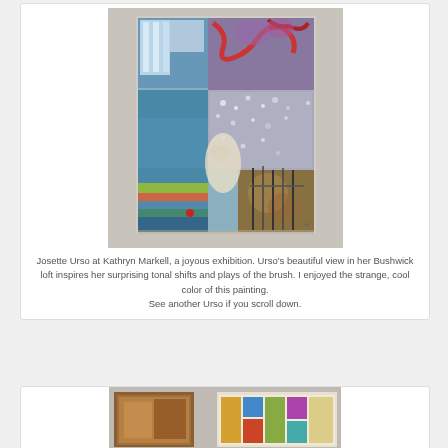[Figure (photo): A painting hung on a gallery wall. The painting is abstract/semi-figurative with cool blue tones, featuring shapes suggesting interior scene with plants and figures. Red serpentine forms visible in upper right corner. Displayed at Kathryn Markell gallery.]
Josette Urso at Kathryn Markell, a joyous exhibition. Urso's beautiful view in her Bushwick loft inspires her surprising tonal shifts and plays of the brush. I enjoyed the strange, cool color of this painting. See another Urso if you scroll down.
[Figure (photo): Partial view of another artwork or gallery display, showing warm brown/orange tones on the left and a multi-colored piece on the right, partially cut off at the bottom of the page.]